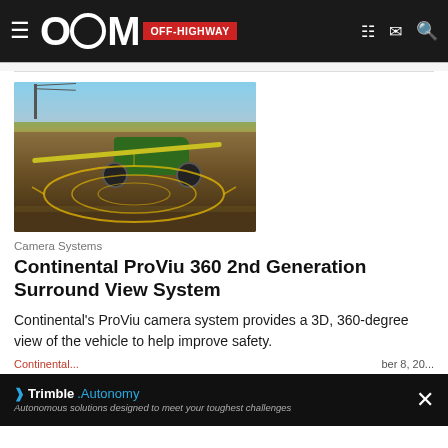OEM OFF-HIGHWAY
[Figure (photo): Agricultural sprayer machine in a field with yellow circular sensor/detection overlay visualizing a 3D surround view, with power lines in background and blue sky]
Camera Systems
Continental ProViu 360 2nd Generation Surround View System
Continental's ProViu camera system provides a 3D, 360-degree view of the vehicle to help improve safety.
Continental | October 8, 20...
[Figure (screenshot): Trimble Autonomy advertisement banner: 'Autonomous solutions designed to meet your toughest challenges' with X close button]